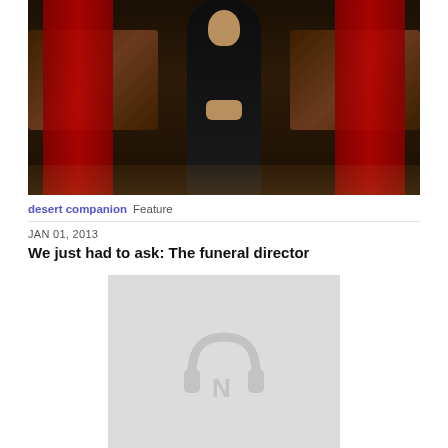[Figure (photo): A man in a dark suit standing in a funeral home with wooden coffins and red curtains in the background]
desert companion Feature
JAN 01, 2013
We just had to ask: The funeral director
[Figure (photo): Gray placeholder image with a headphones/audio icon (NPR-style logo)]
desert companion Feature
JAN 01, 2013